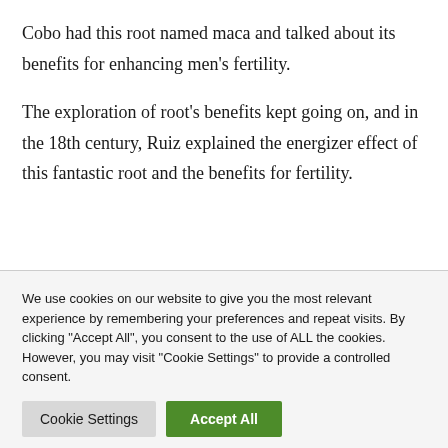Cobo had this root named maca and talked about its benefits for enhancing men's fertility.
The exploration of root's benefits kept going on, and in the 18th century, Ruiz explained the energizer effect of this fantastic root and the benefits for fertility.
We use cookies on our website to give you the most relevant experience by remembering your preferences and repeat visits. By clicking "Accept All", you consent to the use of ALL the cookies. However, you may visit "Cookie Settings" to provide a controlled consent.